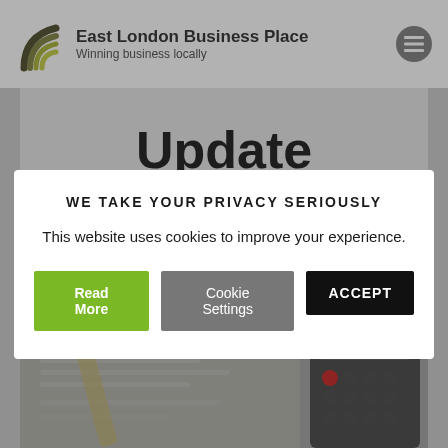East London Business Place — Winning business locally
Update
[Figure (photo): Blurred photo of a calculator and financial documents with a pencil]
WE TAKE YOUR PRIVACY SERIOUSLY
This website uses cookies to improve your experience.
Read More | Cookie Settings | ACCEPT